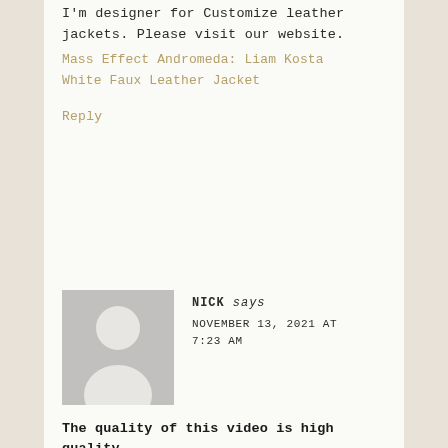I'm designer for Customize leather jackets. Please visit our website.
Mass Effect Andromeda: Liam Kosta White Faux Leather Jacket
Reply
[Figure (illustration): Gray avatar placeholder image of a person silhouette]
NICK says
NOVEMBER 13, 2021 AT 7:23 AM
The quality of this video is high quality.
I is wonderful video. If you want to watch this types of high quality video